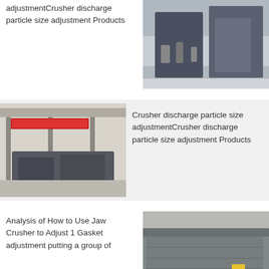adjustmentCrusher discharge particle size adjustment Products
[Figure (photo): Industrial steel panel or plate equipment in a factory yard]
[Figure (photo): Industrial vibrating screen or crusher machines in a factory warehouse with red Chinese text banner]
Crusher discharge particle size adjustmentCrusher discharge particle size adjustment Products
Analysis of How to Use Jaw Crusher to Adjust 1 Gasket adjustment putting a group of
[Figure (photo): Large industrial crusher or conveyor equipment viewed from outside building]